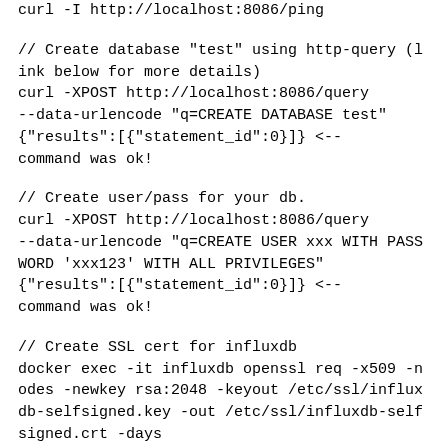curl -I http://localhost:8086/ping
// Create database "test" using http-query (link below for more details)
curl -XPOST http://localhost:8086/query
--data-urlencode "q=CREATE DATABASE test"
{"results":[{"statement_id":0}]} <-- command was ok!
// Create user/pass for your db.
curl -XPOST http://localhost:8086/query
--data-urlencode "q=CREATE USER xxx WITH PASSWORD 'xxx123' WITH ALL PRIVILEGES"
{"results":[{"statement_id":0}]} <-- command was ok!
// Create SSL cert for influxdb
docker exec -it influxdb openssl req -x509 -nodes -newkey rsa:2048 -keyout /etc/ssl/influxdb-selfsigned.key -out /etc/ssl/influxdb-selfsigned.crt -days